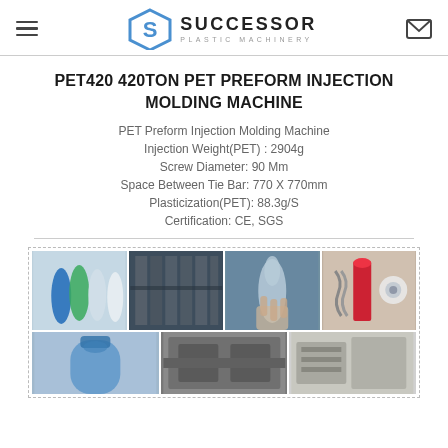Successor Plastic Machinery
PET420 420TON PET PREFORM INJECTION MOLDING MACHINE
PET Preform Injection Molding Machine
Injection Weight(PET) : 2904g
Screw Diameter: 90 Mm
Space Between Tie Bar: 770 X 770mm
Plasticization(PET): 88.3g/S
Certification: CE, SGS
[Figure (photo): Collage of 7 photos showing PET preforms (blue, green, white tubes), injection molding machine interior, hand holding a preform, screw mechanism, water bottle, machine mold close-up, and machine components]